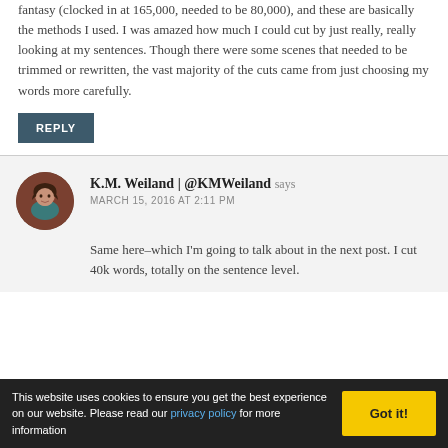fantasy (clocked in at 165,000, needed to be 80,000), and these are basically the methods I used. I was amazed how much I could cut by just really, really looking at my sentences. Though there were some scenes that needed to be trimmed or rewritten, the vast majority of the cuts came from just choosing my words more carefully.
REPLY
K.M. Weiland | @KMWeiland says
MARCH 15, 2016 AT 2:11 PM
Same here–which I'm going to talk about in the next post. I cut 40k words, totally on the sentence level.
This website uses cookies to ensure you get the best experience on our website. Please read our privacy policy for more information